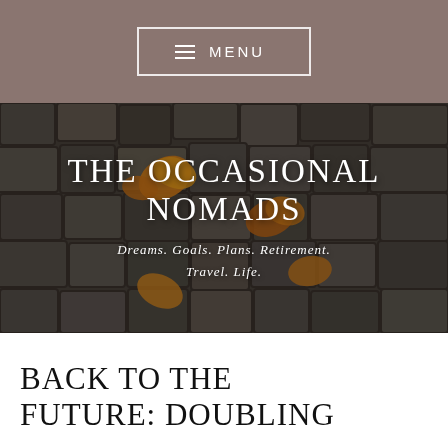MENU
[Figure (photo): Cobblestone ground with autumn leaves, serving as hero background image for 'The Occasional Nomads' blog]
THE OCCASIONAL NOMADS
Dreams. Goals. Plans. Retirement. Travel. Life.
BACK TO THE FUTURE: DOUBLING